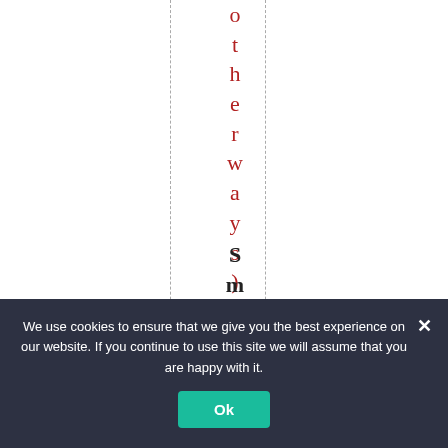otherwise).
Smiles
We use cookies to ensure that we give you the best experience on our website. If you continue to use this site we will assume that you are happy with it.